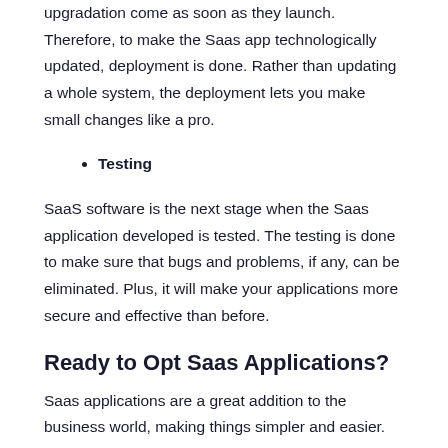upgradation come as soon as they launch. Therefore, to make the Saas app technologically updated, deployment is done. Rather than updating a whole system, the deployment lets you make small changes like a pro.
Testing
SaaS software is the next stage when the Saas application developed is tested. The testing is done to make sure that bugs and problems, if any, can be eliminated. Plus, it will make your applications more secure and effective than before.
Ready to Opt Saas Applications?
Saas applications are a great addition to the business world, making things simpler and easier. Hope this